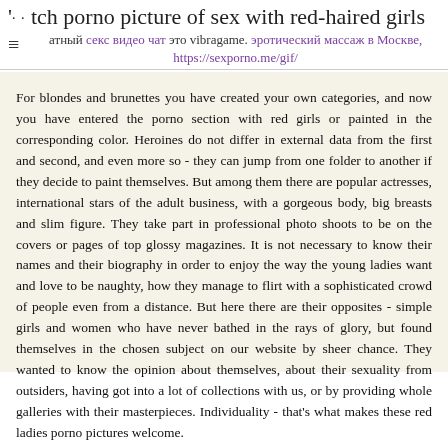'ch porno picture of sex with red-haired girls
атный секс видео чат это vibragame. эротический массаж в Москве, https://sexporno.me/gif/
For blondes and brunettes you have created your own categories, and now you have entered the porno section with red girls or painted in the corresponding color. Heroines do not differ in external data from the first and second, and even more so - they can jump from one folder to another if they decide to paint themselves. But among them there are popular actresses, international stars of the adult business, with a gorgeous body, big breasts and slim figure. They take part in professional photo shoots to be on the covers or pages of top glossy magazines. It is not necessary to know their names and their biography in order to enjoy the way the young ladies want and love to be naughty, how they manage to flirt with a sophisticated crowd of people even from a distance. But here there are their opposites - simple girls and women who have never bathed in the rays of glory, but found themselves in the chosen subject on our website by sheer chance. They wanted to know the opinion about themselves, about their sexuality from outsiders, having got into a lot of collections with us, or by providing whole galleries with their masterpieces. Individuality - that's what makes these red ladies porno pictures welcome.